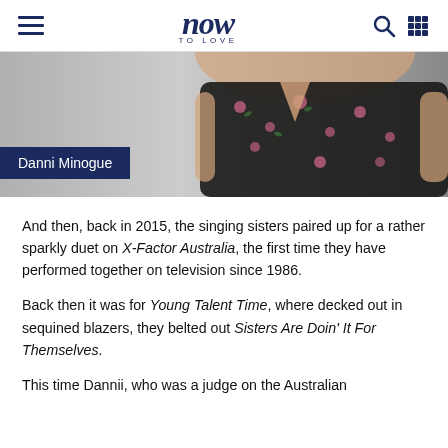now TO LOVE
[Figure (photo): Photo of a person (Danni Minogue) wearing a dark floral dress, cropped to show torso, with a dark navy caption box overlay reading 'Danni Minogue']
And then, back in 2015, the singing sisters paired up for a rather sparkly duet on X-Factor Australia, the first time they have performed together on television since 1986.
Back then it was for Young Talent Time, where decked out in sequined blazers, they belted out Sisters Are Doin' It For Themselves.
This time Dannii, who was a judge on the Australian